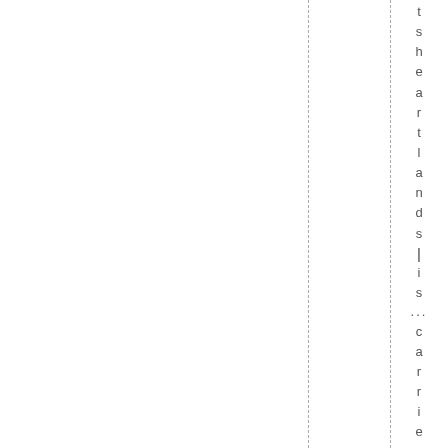t s h e a r t l a n d s | i s ... c a r r i e d f o r w a r d .